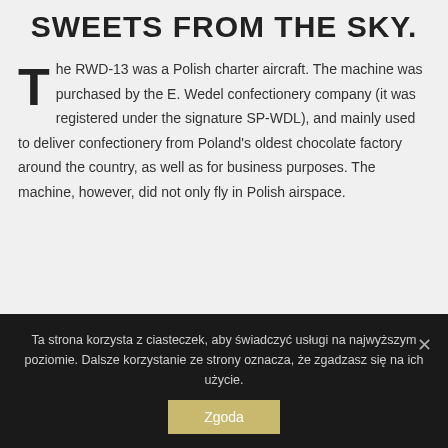SWEETS FROM THE SKY.
The RWD-13 was a Polish charter aircraft. The machine was purchased by the E. Wedel confectionery company (it was registered under the signature SP-WDL), and mainly used to deliver confectionery from Poland's oldest chocolate factory around the country, as well as for business purposes. The machine, however, did not only fly in Polish airspace.
Ta strona korzysta z ciasteczek, aby świadczyć usługi na najwyższym poziomie. Dalsze korzystanie ze strony oznacza, że zgadzasz się na ich użycie.
Zgoda